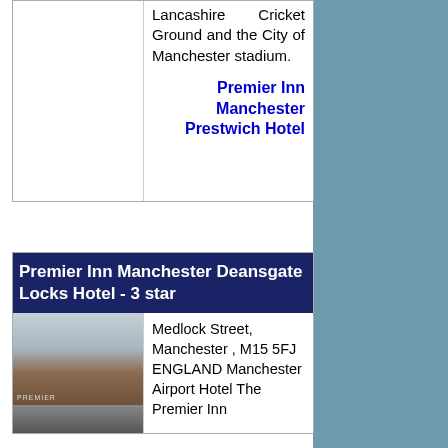Lancashire Cricket Ground and the City of Manchester stadium.
Premier Inn Manchester Prestwich Hotel
Premier Inn Manchester Deansgate Locks Hotel - 3 star
[Figure (photo): Photo of Premier Inn Manchester hotel building exterior, a brick building with street in foreground]
Medlock Street, Manchester , M15 5FJ ENGLAND Manchester Airport Hotel The Premier Inn